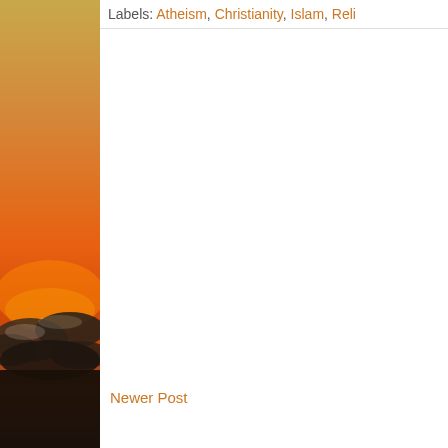[Figure (photo): A sunset photo showing orange sky with silhouetted clouds, positioned as a vertical sidebar on the left side of the page.]
Labels: Atheism, Christianity, Islam, Reli...
Newer Post